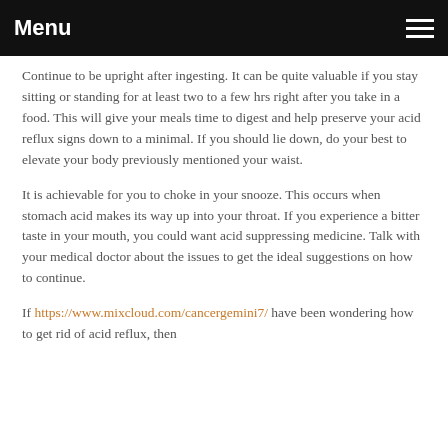Menu
Continue to be upright after ingesting. It can be quite valuable if you stay sitting or standing for at least two to a few hrs right after you take in a food. This will give your meals time to digest and help preserve your acid reflux signs down to a minimal. If you should lie down, do your best to elevate your body previously mentioned your waist.
It is achievable for you to choke in your snooze. This occurs when stomach acid makes its way up into your throat. If you experience a bitter taste in your mouth, you could want acid suppressing medicine. Talk with your medical doctor about the issues to get the ideal suggestions on how to continue.
If https://www.mixcloud.com/cancergemini7/ have been wondering how to get rid of acid reflux, then